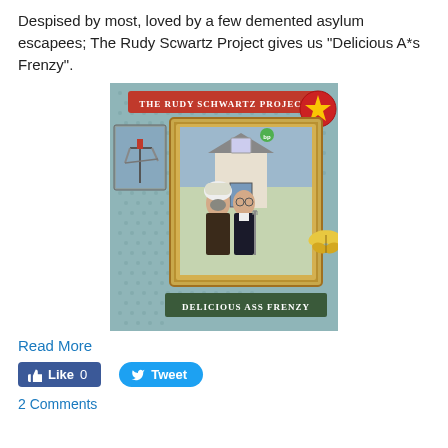Despised by most, loved by a few demented asylum escapees; The Rudy Scwartz Project gives us "Delicious A*s Frenzy".
[Figure (illustration): Album cover for 'Delicious Ass Frenzy' by The Rudy Schwartz Project. Parody of American Gothic painting with two figures in front of a house, set against a patterned wallpaper background with an oil pump jack on the left, a golden butterfly on the right, and a red star logo in the top right corner. Red banner at top reads 'The Rudy Schwartz Project'. Green banner at bottom reads 'Delicious Ass Frenzy'.]
Read More
Like 0
Tweet
2 Comments